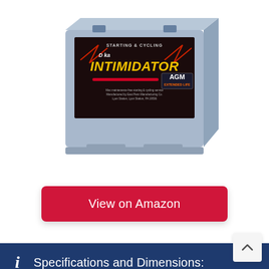[Figure (photo): Deka Intimidator AGM battery product photo on white background]
View on Amazon
Specifications and Dimensions:
Voltage: 12V
CCA: 775